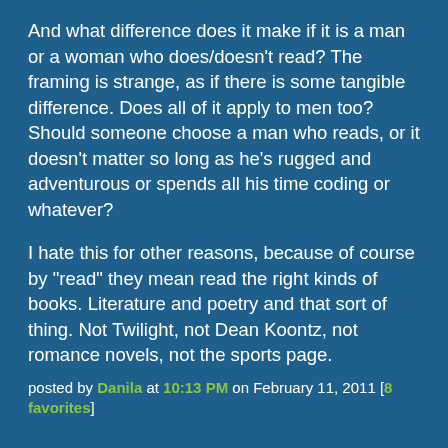And what difference does it make if it is a man or a woman who does/doesn't read? The framing is strange, as if there is some tangible difference. Does all of it apply to men too? Should someone choose a man who reads, or it doesn't matter so long as he's rugged and adventurous or spends all his time coding or whatever?
I hate this for other reasons, because of course by "read" they mean read the right kinds of books. Literature and poetry and that sort of thing. Not Twilight, not Dean Koontz, not romance novels, not the sports page.
posted by Danila at 10:13 PM on February 11, 2011 [8 favorites]
And the main reason for hating his first ex-wife? She sold his comic collection.
That part is totally reasonable.